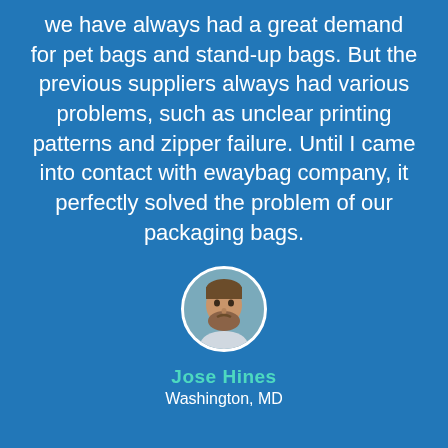we have always had a great demand for pet bags and stand-up bags. But the previous suppliers always had various problems, such as unclear printing patterns and zipper failure. Until I came into contact with ewaybag company, it perfectly solved the problem of our packaging bags.
[Figure (photo): Circular avatar photo of a bearded man, Jose Hines]
Jose Hines
Washington, MD